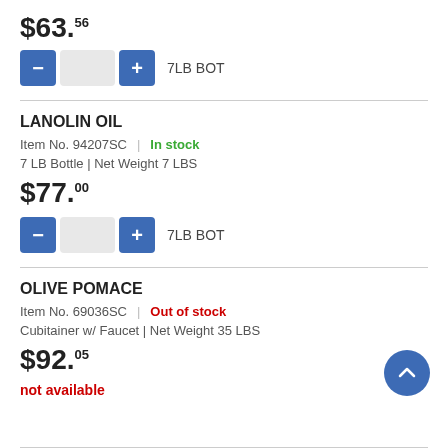$63.56
7LB BOT
LANOLIN OIL
Item No. 94207SC | In stock
7 LB Bottle | Net Weight 7 LBS
$77.00
7LB BOT
OLIVE POMACE
Item No. 69036SC | Out of stock
Cubitainer w/ Faucet | Net Weight 35 LBS
$92.05
not available